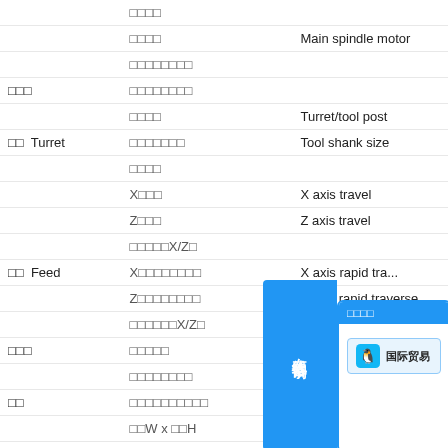| Category | Chinese | English | Value |
| --- | --- | --- | --- |
|  | □□□□ |  |  |
|  | □□□□ | Main spindle motor | kW |
|  | □□□□□□□□ |  |  |
| □□□ |  | □□□□□□□□ | mm |
|  | □□□□ | Turret/tool post | - |
| □□ Turret | □□□□□□□ | Tool shank size | mm |
|  | □□□□ |  | mm |
|  | X□□□ | X axis travel |  |
|  | Z□□□ | Z axis travel |  |
|  | □□□□□X/Z□ |  |  |
| □□ Feed | X□□□□□□□□ | X axis rapid tra... |  |
|  | Z□□□□□□□□ | Z axis rapid traverse |  |
|  | □□□□□□X/Z□ | X/Z axis |  |
| □□□ | □□□□□ | Coolant pump motor | kW |
|  | □□□□□□□□ |  |  |
| □□ |  | □□□□□□□□□□ | μm |
|  | □□W x □□H | Width x Height | mm |
| □□ Dimension | □□ L □□□□□□ | Length  (chip conveyor included) | mm |
| □□ Weight | □□□□ | Net weight |  |